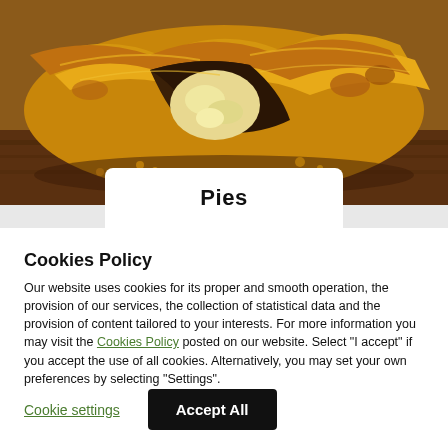[Figure (photo): Close-up photo of a freshly baked pie (spanakopita/cheese pie style) cut open showing flaky pastry layers and cheese filling on a wooden board]
Pies
Cookies Policy
Our website uses cookies for its proper and smooth operation, the provision of our services, the collection of statistical data and the provision of content tailored to your interests. For more information you may visit the Cookies Policy posted on our website. Select "I accept" if you accept the use of all cookies. Alternatively, you may set your own preferences by selecting "Settings".
Cookie settings
Accept All